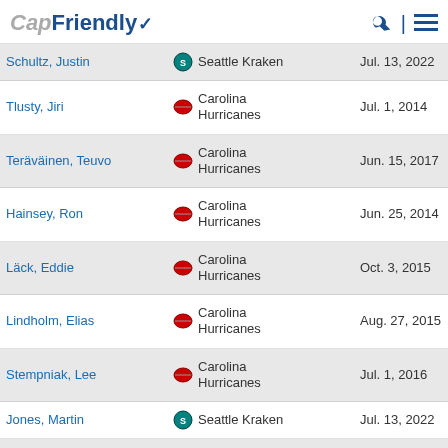CapFriendly
| Player | Team | Date |  |
| --- | --- | --- | --- |
| Schultz, Justin | Seattle Kraken | Jul. 13, 2022 | $ |
| Tlusty, Jiri | Carolina Hurricanes | Jul. 1, 2014 | $ |
| Teräväinen, Teuvo | Carolina Hurricanes | Jun. 15, 2017 | $ |
| Hainsey, Ron | Carolina Hurricanes | Jun. 25, 2014 | $ |
| Läck, Eddie | Carolina Hurricanes | Oct. 3, 2015 | $ |
| Lindholm, Elias | Carolina Hurricanes | Aug. 27, 2015 | $ |
| Stempniak, Lee | Carolina Hurricanes | Jul. 1, 2016 | $ |
| Jones, Martin | Seattle Kraken | Jul. 13, 2022 | $ |
| Gerbe, Nathan | Carolina Hurricanes | Jun. 24, 2014 | $ |
| (Carolina) |  |  |  |